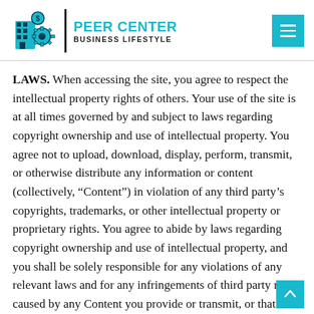PEER CENTER BUSINESS LIFESTYLE
LAWS. When accessing the site, you agree to respect the intellectual property rights of others. Your use of the site is at all times governed by and subject to laws regarding copyright ownership and use of intellectual property. You agree not to upload, download, display, perform, transmit, or otherwise distribute any information or content (collectively, “Content”) in violation of any third party’s copyrights, trademarks, or other intellectual property or proprietary rights. You agree to abide by laws regarding copyright ownership and use of intellectual property, and you shall be solely responsible for any violations of any relevant laws and for any infringements of third party rights caused by any Content you provide or transmit, or that is provided or